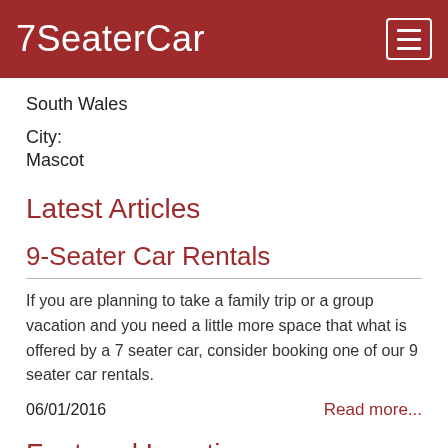7SeaterCar
South Wales
City:
Mascot
Latest Articles
9-Seater Car Rentals
If you are planning to take a family trip or a group vacation and you need a little more space that what is offered by a 7 seater car, consider booking one of our 9 seater car rentals.
06/01/2016
Read more...
Featured Location